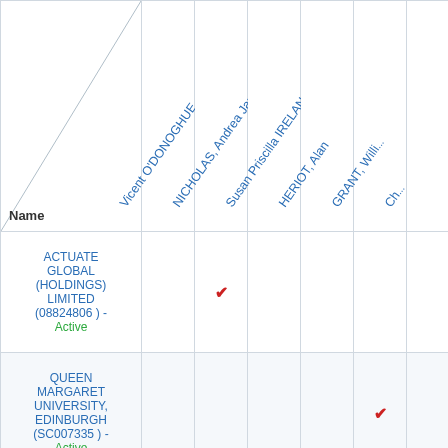| Name | Vicent O'DONOGHUE | NICHOLAS, Andrea Jan... | Susan Priscilla IRELAND | HERIOT, Alan | GRANT, Willi... | Ch... |
| --- | --- | --- | --- | --- | --- | --- |
| ACTUATE GLOBAL (HOLDINGS) LIMITED (08824806) - Active |  | ✔ |  |  |  |  |
| QUEEN MARGARET UNIVERSITY, EDINBURGH (SC007335) - Active |  |  |  |  | ✔ |  |
| (SC025563) |  | ✔ |  |  |  |  |
| ROBERTSON |  | ✔ |  |  |  |  |